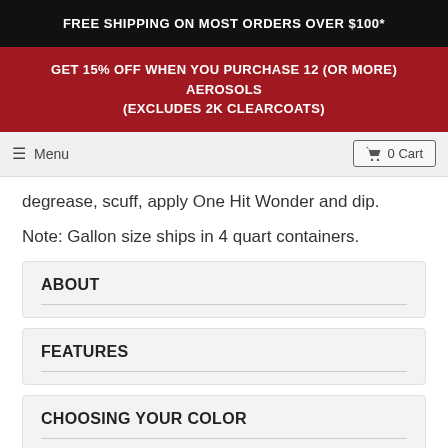FREE SHIPPING ON MOST ORDERS OVER $100*
GET 15% OFF WHEN YOU PURCHASE 12 (OR MORE) AEROSOLS (EXCLUDES 2K CLEARCOATS)
Menu | 0 Cart
degrease, scuff, apply One Hit Wonder and dip.
Note: Gallon size ships in 4 quart containers.
ABOUT
FEATURES
CHOOSING YOUR COLOR
APPLICATION